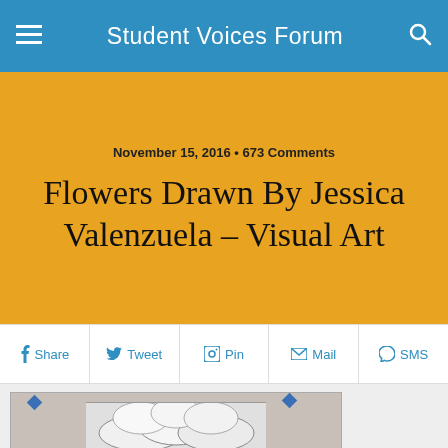Student Voices Forum
November 15, 2016 • 673 Comments
Flowers Drawn By Jessica Valenzuela – Visual Art
Share  Tweet  Pin  Mail  SMS
[Figure (photo): A black and white drawing of flowers (likely hibiscus/plumeria) pinned to a wall with blue painter's tape, photographed in color showing the paper against a light wall]